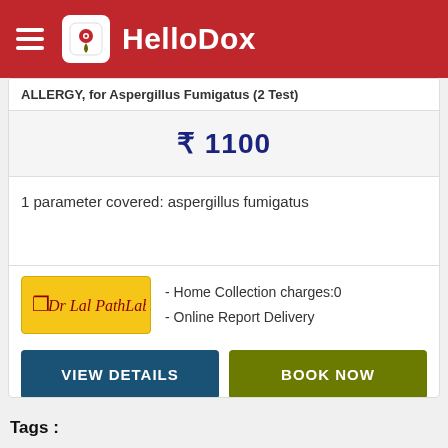HelloDox
ALLERGY, for Aspergillus Fumigatus (2 Test)
₹ 1100
1 parameter covered: aspergillus fumigatus
[Figure (logo): Dr Lal PathLabs logo on yellow background]
- Home Collection charges:0
- Online Report Delivery
VIEW DETAILS
BOOK NOW
Tags :